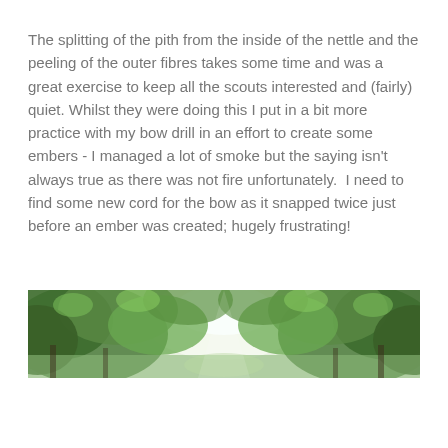The splitting of the pith from the inside of the nettle and the peeling of the outer fibres takes some time and was a great exercise to keep all the scouts interested and (fairly) quiet. Whilst they were doing this I put in a bit more practice with my bow drill in an effort to create some embers - I managed a lot of smoke but the saying isn't always true as there was not fire unfortunately.  I need to find some new cord for the bow as it snapped twice just before an ember was created; hugely frustrating!
[Figure (photo): A wide panoramic photo of a green woodland path or clearing, with dense green trees on both sides and light sky visible in the centre.]